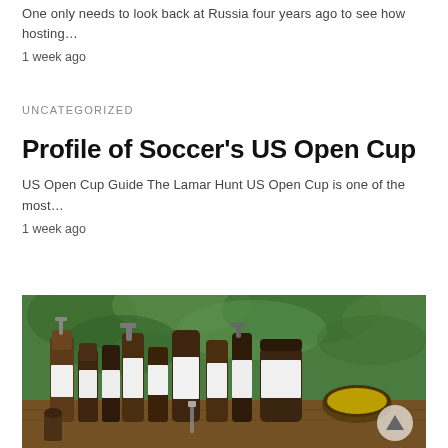One only needs to look back at Russia four years ago to see how hosting…
1 week ago
UNCATEGORIZED
Profile of Soccer's US Open Cup
US Open Cup Guide The Lamar Hunt US Open Cup is one of the most…
1 week ago
[Figure (photo): Assorted brown glass cosmetic/apothecary bottles and jars arranged on a wooden surface with green leafy plants in the background.]